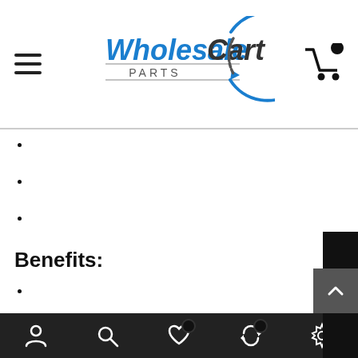Wholesale Cart Parts
Benefits: